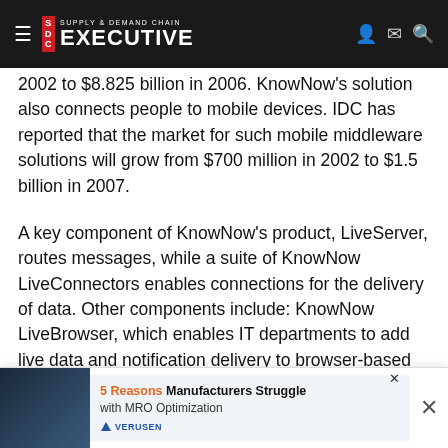Supply & Demand Chain Executive
2002 to $8.825 billion in 2006. KnowNow's solution also connects people to mobile devices. IDC has reported that the market for such mobile middleware solutions will grow from $700 million in 2002 to $1.5 billion in 2007.
A key component of KnowNow's product, LiveServer, routes messages, while a suite of KnowNow LiveConnectors enables connections for the delivery of data. Other components include: KnowNow LiveBrowser, which enables IT departments to add live data and notification delivery to browser-based applications without refresh, client-side installation, which allows users to share information between multiple
[Figure (infographic): Advertisement banner: '5 Reasons Manufacturers Struggle with MRO Optimization' by Verusen, with dark industrial background image]